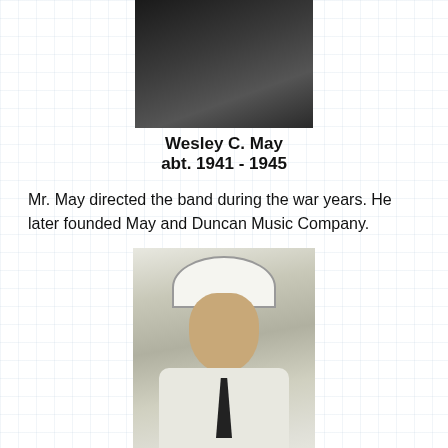[Figure (photo): Black and white portrait photo of Wesley C. May, partially cropped at top]
Wesley C. May
abt. 1941 - 1945
Mr. May directed the band during the war years. He later founded May and Duncan Music Company.
[Figure (photo): Black and white photo of G. Ward Moody in band uniform with white military-style hat, smiling]
G. Ward Moody
I got this picture from the 1941 Corral. Mr. Moody was the